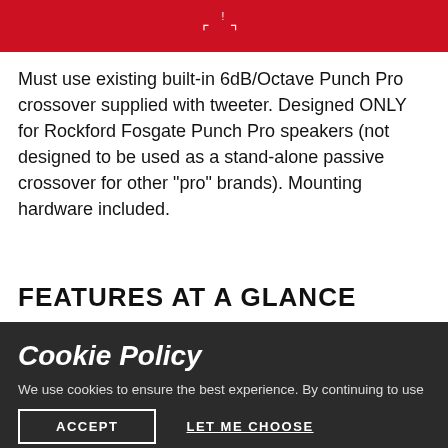[Figure (other): Red header bar with a scan/viewfinder icon in white]
Must use existing built-in 6dB/Octave Punch Pro crossover supplied with tweeter. Designed ONLY for Rockford Fosgate Punch Pro speakers (not designed to be used as a stand-alone passive crossover for other "pro" brands). Mounting hardware included.
FEATURES AT A GLANCE
Cookie Policy
We use cookies to ensure the best experience. By continuing to use this site, you agree to our Privacy Policy.
ACCEPT
LET ME CHOOSE